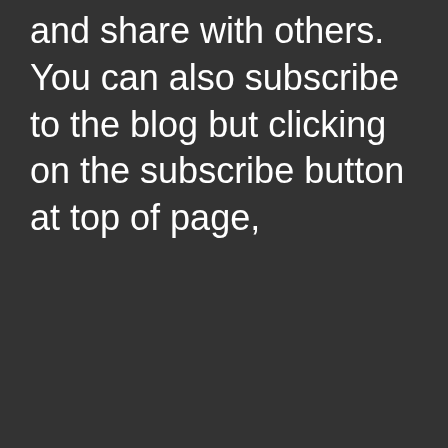and share with others. You can also subscribe to the blog but clicking on the subscribe button at top of page,